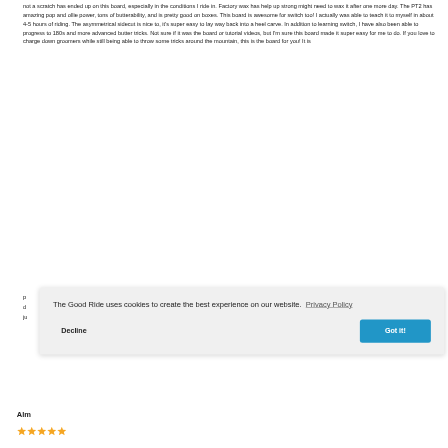not a scratch has ended up on this board, especially in the conditions I ride in. Factory wax has help up strong might need to wax it after one more day. The PT2 has amazing pop and ollie power, tons of butterability, and is pretty good on boxes. This board is awesome for switch too! I actually was able to teach it to myself in about 4-5 hours of riding. The asymmetrical sidecut is nice to, it's super easy to lay way back into a heel carve. In addition to learning switch, I have also been able to progress to 180s and more advanced butter tricks. Not sure if it was the board or tutorial videos, but I'm sure this board made it super easy for me to do. If you love to charge down groomers while still being able to throw some tricks around the mountain, this is the board for you! It is
p
d
ju
The Good Ride uses cookies to create the best experience on our website.  Privacy Policy
Decline
Got it!
Alm